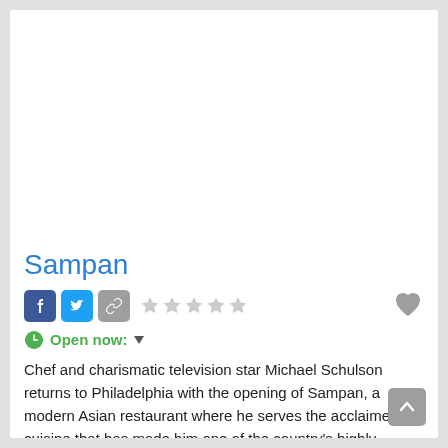[Figure (photo): White/blank image area at the top of the restaurant listing card]
Sampan
Social share buttons (Facebook, Twitter, link), five star rating, heart/favorite button
Open now: (dropdown)
Chef and charismatic television star Michael Schulson returns to Philadelphia with the opening of Sampan, a modern Asian restaurant where he serves the acclaimed cuisine that has made him one of the country's highly sought-after culinary talents. Schulson returns to Philadelphia after having